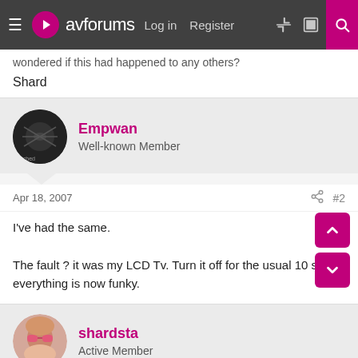avforums | Log in | Register
wondered if this had happened to any others?
Shard
Empwan
Well-known Member
Apr 18, 2007   #2
I've had the same.

The fault ? it was my LCD Tv. Turn it off for the usual 10 secs, everything is now funky.
shardsta
Active Member
Apr 18, 2007   #3